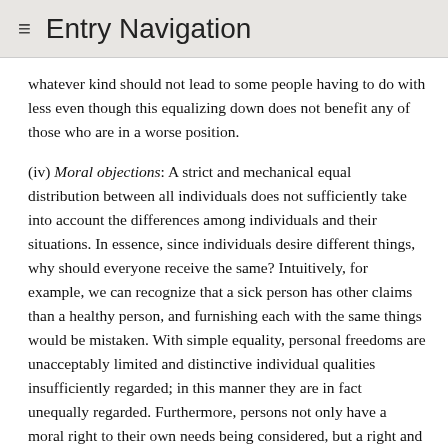≡ Entry Navigation
whatever kind should not lead to some people having to do with less even though this equalizing down does not benefit any of those who are in a worse position.
(iv) Moral objections: A strict and mechanical equal distribution between all individuals does not sufficiently take into account the differences among individuals and their situations. In essence, since individuals desire different things, why should everyone receive the same? Intuitively, for example, we can recognize that a sick person has other claims than a healthy person, and furnishing each with the same things would be mistaken. With simple equality, personal freedoms are unacceptably limited and distinctive individual qualities insufficiently regarded; in this manner they are in fact unequally regarded. Furthermore, persons not only have a moral right to their own needs being considered, but a right and a duty to take responsibility for their own